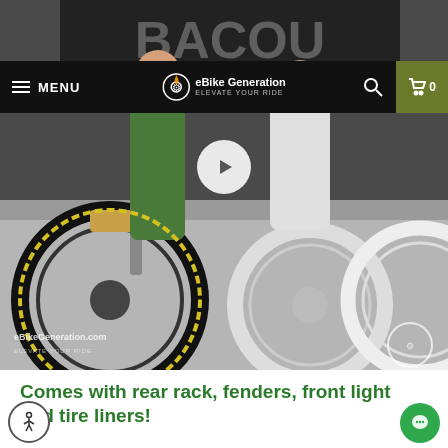[Figure (photo): Photograph of electric bikes (BAKCOU Mule) displayed in a showroom/store, with people standing beside them. Multiple fat-tire e-bikes visible. eBikeGeneration.com watermark in bottom-left corner of photo.]
MENU  eBike Generation  0
Comes with rear rack, fenders, front light and tire liners!
The guys over at BAKCOU have spent countless hours in research, development, testing and believe it is the absolute BEST ebike on the market!
Please Note:  The Mule comes in a 18" Frame so suitable for riders of 5'9" and upwards.  For shorter riders